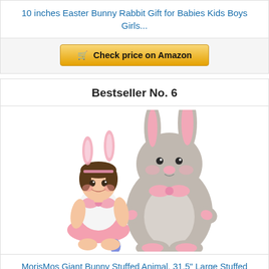10 inches Easter Bunny Rabbit Gift for Babies Kids Boys Girls...
[Figure (other): Check price on Amazon button]
Bestseller No. 6
[Figure (photo): Photo of a baby girl dressed in bunny ears and pink outfit sitting next to a large grey stuffed bunny plush toy]
MorisMos Giant Bunny Stuffed Animal, 31.5" Large Stuffed Ea...